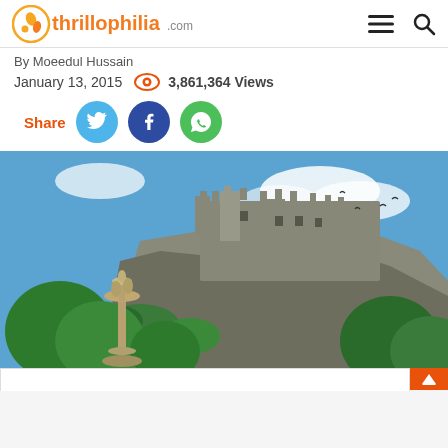thrillophilia.com
By Moeedul Hussain
January 13, 2015   3,861,364 Views
Share
[Figure (photo): Edinburgh Castle on a rocky cliff with a fountain in the foreground surrounded by trees, blue sky with clouds in the background.]